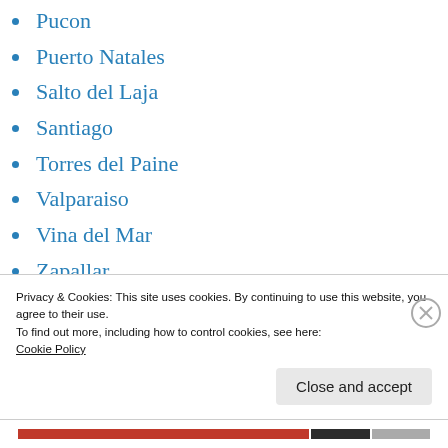Pucon
Puerto Natales
Salto del Laja
Santiago
Torres del Paine
Valparaiso
Vina del Mar
Zapallar
Germany
Berlin
Munich
Privacy & Cookies: This site uses cookies. By continuing to use this website, you agree to their use.
To find out more, including how to control cookies, see here:
Cookie Policy
Close and accept